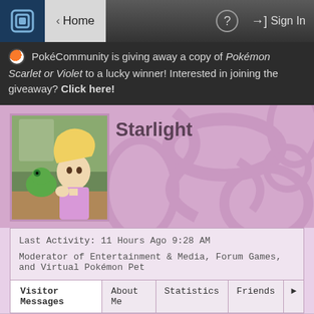Home | ? | Sign In
PokéCommunity is giving away a copy of Pokémon Scarlet or Violet to a lucky winner! Interested in joining the giveaway? Click here!
[Figure (screenshot): Profile page for user 'Starlight' showing avatar image of Rapunzel and Pascal from Tangled, on a purple/pink decorative background]
Last Activity: 11 Hours Ago 9:28 AM
Moderator of Entertainment & Media, Forum Games, and Virtual Pokémon Pet
| Visitor Messages | About Me | Statistics | Friends | ▶ |
| --- | --- | --- | --- | --- |
1 to 15 of 279
ZeoStar    1 Week Ago 4:07 PM